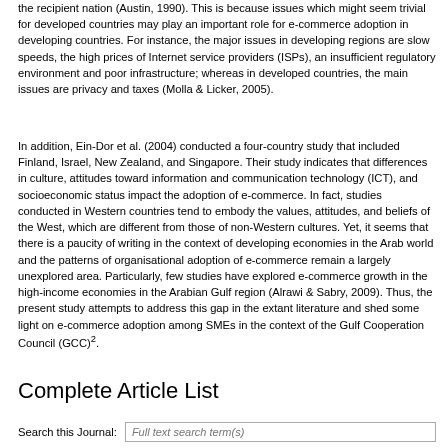the recipient nation (Austin, 1990). This is because issues which might seem trivial for developed countries may play an important role for e-commerce adoption in developing countries. For instance, the major issues in developing regions are slow speeds, the high prices of Internet service providers (ISPs), an insufficient regulatory environment and poor infrastructure; whereas in developed countries, the main issues are privacy and taxes (Molla & Licker, 2005).
In addition, Ein-Dor et al. (2004) conducted a four-country study that included Finland, Israel, New Zealand, and Singapore. Their study indicates that differences in culture, attitudes toward information and communication technology (ICT), and socioeconomic status impact the adoption of e-commerce. In fact, studies conducted in Western countries tend to embody the values, attitudes, and beliefs of the West, which are different from those of non-Western cultures. Yet, it seems that there is a paucity of writing in the context of developing economies in the Arab world and the patterns of organisational adoption of e-commerce remain a largely unexplored area. Particularly, few studies have explored e-commerce growth in the high-income economies in the Arabian Gulf region (Alrawi & Sabry, 2009). Thus, the present study attempts to address this gap in the extant literature and shed some light on e-commerce adoption among SMEs in the context of the Gulf Cooperation Council (GCC)².
Complete Article List
Search this Journal: